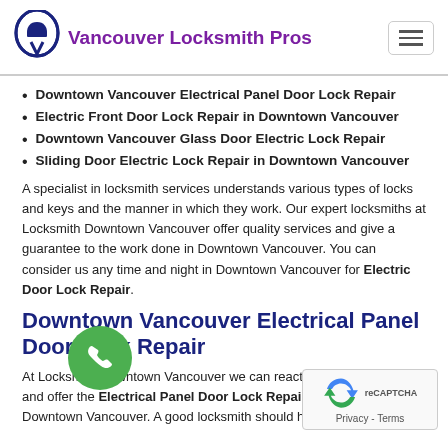Vancouver Locksmith Pros
Downtown Vancouver Electrical Panel Door Lock Repair
Electric Front Door Lock Repair in Downtown Vancouver
Downtown Vancouver Glass Door Electric Lock Repair
Sliding Door Electric Lock Repair in Downtown Vancouver
A specialist in locksmith services understands various types of locks and keys and the manner in which they work. Our expert locksmiths at Locksmith Downtown Vancouver offer quality services and give a guarantee to the work done in Downtown Vancouver. You can consider us any time and night in Downtown Vancouver for Electric Door Lock Repair.
Downtown Vancouver Electrical Panel Door Lock Repair
At Locksmith Downtown Vancouver we can react to customers rapidly and offer the Electrical Panel Door Lock Repair Service at Downtown Vancouver. A good locksmith should have the option to